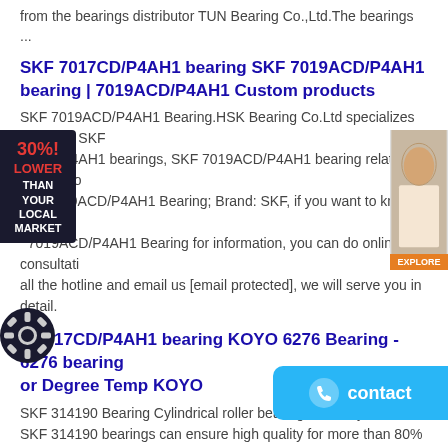from the bearings distributor TUN Bearing Co.,Ltd.The bearings ...
SKF 7017CD/P4AH1 bearing SKF 7019ACD/P4AH1 bearing | 7019ACD/P4AH1 Custom products
SKF 7019ACD/P4AH1 Bearing.HSK Bearing Co.Ltd specializes in selling SKF 9ACD/P4AH1 bearings, SKF 7019ACD/P4AH1 bearing related information; del: 7019ACD/P4AH1 Bearing; Brand: SKF, if you want to know more about 7019ACD/P4AH1 Bearing for information, you can do online consultation, all the hotline and email us [email protected], we will serve you in detail.
SKF 7017CD/P4AH1 bearing KOYO 6276 Bearing - 6276 bearing or Degree Temp KOYO
SKF 314190 Bearing Cylindrical roller bearings Country Of ... SKF 314190 bearings can ensure high quality for more than 80% raw material of SKF 314190 bearings provided by the steel plant.Explorer series bearing of SKF 314190 bearings are better than any brand bearings currently in bearing performance , lifetime, design, and the use of performance.
SKF 7017CD/P4AH1 bearing NACHI 23928AX Bearing | 23928AX Bearing -
✿ ✿ NACHI 23928AX Bearing - bunnytraining.... ✿ ✿ ≡≡ r bearings NACHI 23928AX bearings and other bearings are in conformity with the international quality standard ISO 9001 and are highly appreciated in